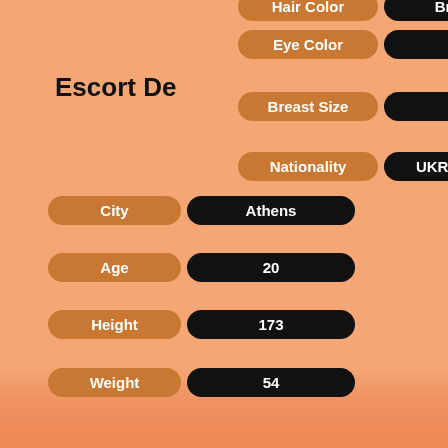Hair Color: Brown
Eye Color: -
Escort De...
Breast Size: -
Nationality: UKRAINIAN
City: Athens
Age: 20
Height: 173
Weight: 54
← Older posts
Proudly powered by WordPress